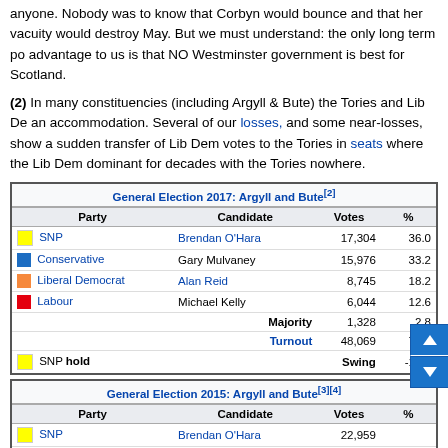anyone. Nobody was to know that Corbyn would bounce and that her vacuity would destroy May. But we must understand: the only long term po advantage to us is that NO Westminster government is best for Scotland.
(2) In many constituencies (including Argyll & Bute) the Tories and Lib De an accommodation. Several of our losses, and some near-losses, show a sudden transfer of Lib Dem votes to the Tories in seats where the Lib Dem dominant for decades with the Tories nowhere.
| Party | Candidate | Votes | % |
| --- | --- | --- | --- |
| SNP | Brendan O'Hara | 17,304 | 36.0 |
| Conservative | Gary Mulvaney | 15,976 | 33.2 |
| Liberal Democrat | Alan Reid | 8,745 | 18.2 |
| Labour | Michael Kelly | 6,044 | 12.6 |
| Majority |  | 1,328 | 2.8 |
| Turnout |  | 48,069 | 71.5 |
| SNP hold | Swing |  | -13.3 |
| Party | Candidate | Votes | % |
| --- | --- | --- | --- |
| SNP | Brendan O'Hara | 22,959 |  |
| Liberal Democrat | Alan Reid | 14,486 |  |